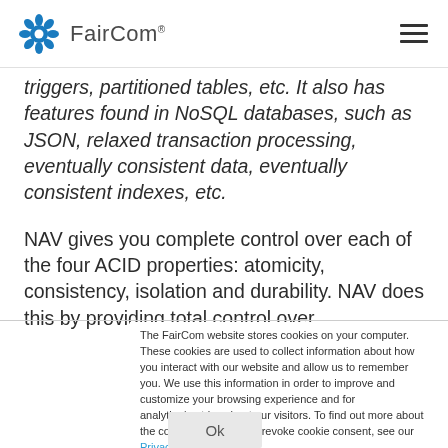FairCom
triggers, partitioned tables, etc. It also has features found in NoSQL databases, such as JSON, relaxed transaction processing, eventually consistent data, eventually consistent indexes, etc.
NAV gives you complete control over each of the four ACID properties: atomicity, consistency, isolation and durability. NAV does this by providing total control over
The FairCom website stores cookies on your computer. These cookies are used to collect information about how you interact with our website and allow us to remember you. We use this information in order to improve and customize your browsing experience and for analytics/metrics about our visitors. To find out more about the cookies we use or to revoke cookie consent, see our Privacy Policy.